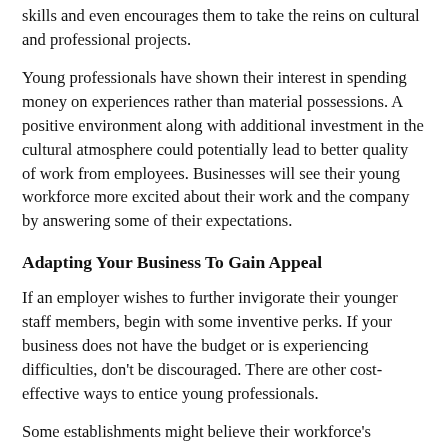skills and even encourages them to take the reins on cultural and professional projects.
Young professionals have shown their interest in spending money on experiences rather than material possessions. A positive environment along with additional investment in the cultural atmosphere could potentially lead to better quality of work from employees. Businesses will see their young workforce more excited about their work and the company by answering some of their expectations.
Adapting Your Business To Gain Appeal
If an employer wishes to further invigorate their younger staff members, begin with some inventive perks. If your business does not have the budget or is experiencing difficulties, don’t be discouraged. There are other cost-effective ways to entice young professionals.
Some establishments might believe their workforce’s expectations can be easily satisfied with office dogs or the newest espresso machines. However, the next generation of employees are focused on taking down barriers such as equal pay. They welcome transparency and emotional intelligence in the workplace. If a business takes sincere consideration of their needs and prove modifications that correspond to current social and political